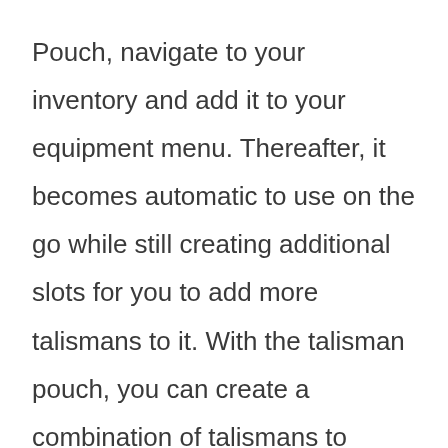Pouch, navigate to your inventory and add it to your equipment menu. Thereafter, it becomes automatic to use on the go while still creating additional slots for you to add more talismans to it. With the talisman pouch, you can create a combination of talismans to make them more potent and aid with your in-game progress.